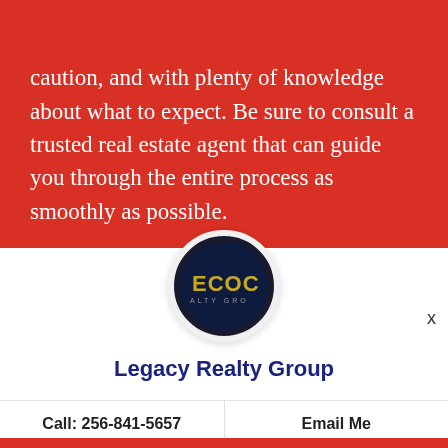But it also needs to be approached with caution, and with plenty of knowledge about what to expect. Be sure to consult a trusted real estate agent that can guide you through the entire process as smoothly as possible.
[Figure (logo): Legacy Realty Group circular logo with dark blue background and gold ECOC text with ALTY GRO subtitle, white circular border]
Legacy Realty Group
Call: 256-841-5657
Email Me